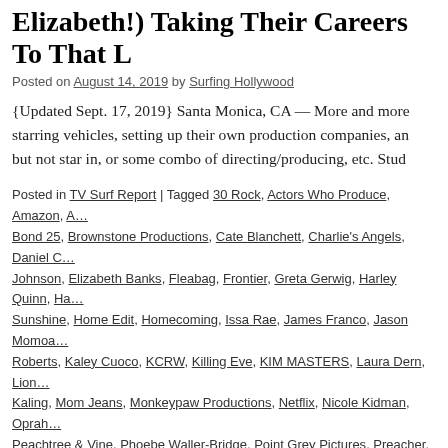Elizabeth!) Taking Their Careers To That L…
Posted on August 14, 2019 by Surfing Hollywood
{Updated Sept. 17, 2019} Santa Monica, CA — More and more… starring vehicles, setting up their own production companies, an… but not star in, or some combo of directing/producing, etc. Stud…
Posted in TV Surf Report | Tagged 30 Rock, Actors Who Produce, Amazon, A… Bond 25, Brownstone Productions, Cate Blanchett, Charlie's Angels, Daniel C… Johnson, Elizabeth Banks, Fleabag, Frontier, Greta Gerwig, Harley Quinn, Ha… Sunshine, Home Edit, Homecoming, Issa Rae, James Franco, Jason Momoa… Roberts, Kaley Cuoco, KCRW, Killing Eve, KIM MASTERS, Laura Dern, Lion… Kaling, Mom Jeans, Monkeypaw Productions, Netflix, Nicole Kidman, Oprah… Peachtree & Vine, Phoebe Waller-Bridge, Point Grey Pictures, Preacher, Pre… Seth Rogen, Seven Bucks Productions, Smart Girls, SNL, Super Soul Sunda… Hollywood Reporter, The Mindy Project, The Office, Tim Palen, Tina Fey, Tita… Unbreakable Kimmy Schmidt, USA Today, Wally Lamb, Warner Bros. TV | Le…